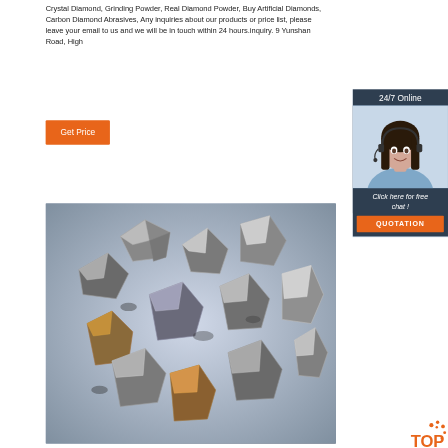Crystal Diamond, Grinding Powder, Real Diamond Powder, Buy Artificial Diamonds, Carbon Diamond Abrasives, Any inquiries about our products or price list, please leave your email to us and we will be in touch within 24 hours.inquiry. 9 Yunshan Road, High
Get Price
24/7 Online
[Figure (photo): Woman with headset smiling - customer service representative]
Click here for free chat !
QUOTATION
[Figure (photo): Close-up photo of diamond crystals/abrasive diamond powder pieces on light background]
[Figure (logo): TOP badge/logo with orange dots]